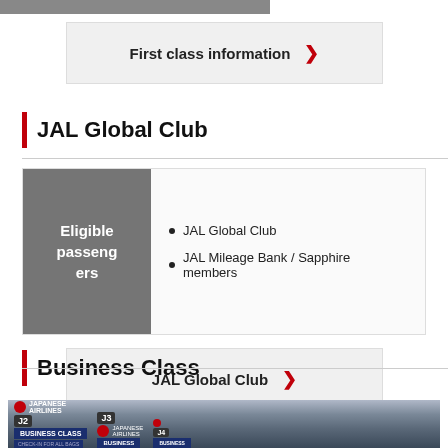[Figure (other): Gray navigation bar at top of page]
First class information ›
JAL Global Club
| Eligible passengers |  |
| --- | --- |
|  | JAL Global Club |
|  | JAL Mileage Bank / Sapphire members |
JAL Global Club ›
Business Class
[Figure (photo): Photo of JAL Business Class check-in counters with signs showing J2, J3, J4 and JAL Airlines logos]